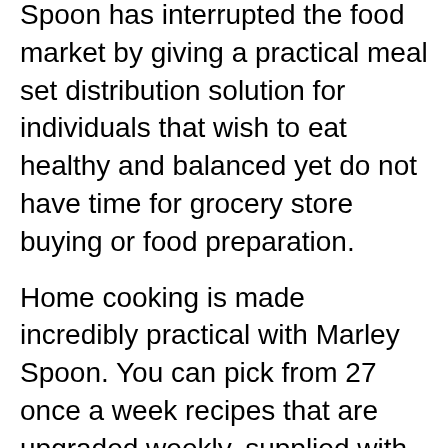Spoon has interrupted the food market by giving a practical meal set distribution solution for individuals that wish to eat healthy and balanced yet do not have time for grocery store buying or food preparation.
Home cooking is made incredibly practical with Marley Spoon. You can pick from 27 once a week recipes that are upgraded weekly, supplied with preportioned ingredients in meal kits directly to your door.
Their selections of meal recipes include vegetarian, vegan, family-friendly, gluten-free, dairy-free, and low carbohydrate alternatives. Their 6-step dish cards are chef-inspired and also easy to follow. With flexible subscriptions, you can hire to manage it